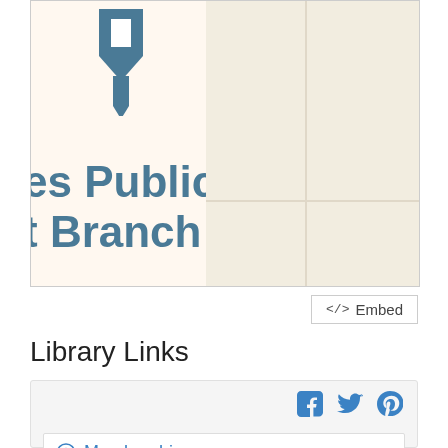[Figure (map): Map screenshot showing a library location with a red map pin marker, overlapping a library logo/sign that reads 'es Public t Branch' (partially cropped). The map background shows streets and a building footprint.]
</> Embed
Library Links
[Figure (infographic): Social sharing panel with Facebook, Twitter, and Pinterest icons in blue, followed by a white box with a blue info icon and 'Membership' link text in blue.]
Membership